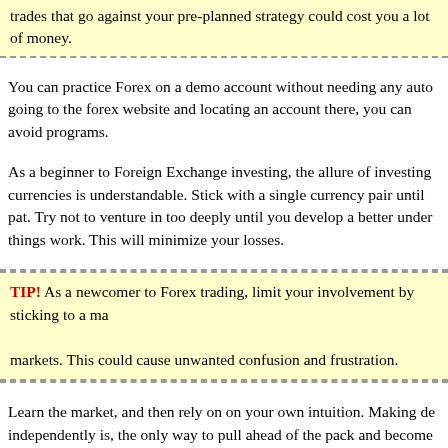trades that go against your pre-planned strategy could cost you a lot of money.
You can practice Forex on a demo account without needing any auto going to the forex website and locating an account there, you can avoid programs.
As a beginner to Foreign Exchange investing, the allure of investing currencies is understandable. Stick with a single currency pair until pat. Try not to venture in too deeply until you develop a better under things work. This will minimize your losses.
TIP! As a newcomer to Forex trading, limit your involvement by sticking to a ma markets. This could cause unwanted confusion and frustration.
Learn the market, and then rely on on your own intuition. Making de independently is, the only way to pull ahead of the pack and become